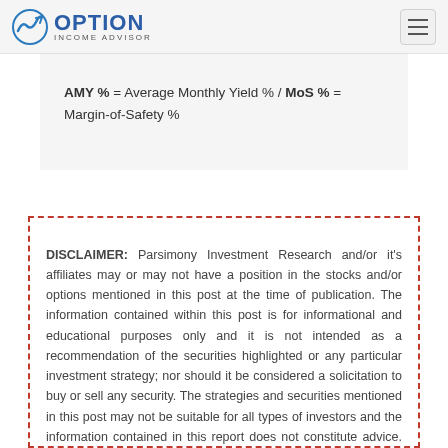OPTION INCOME ADVISOR
DISCLAIMER: Parsimony Investment Research and/or it's affiliates may or may not have a position in the stocks and/or options mentioned in this post at the time of publication. The information contained within this post is for informational and educational purposes only and it is not intended as a recommendation of the securities highlighted or any particular investment strategy; nor should it be considered a solicitation to buy or sell any security. The strategies and securities mentioned in this post may not be suitable for all types of investors and the information contained in this report does not constitute advice. Past performance is not a